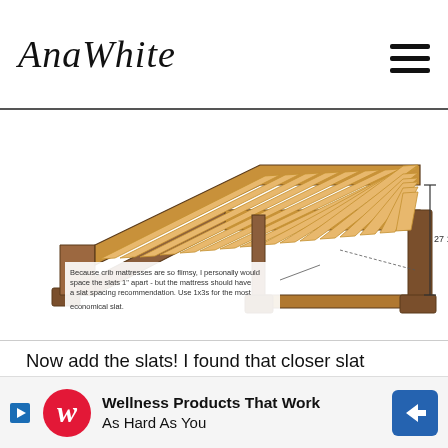AnaWhite
[Figure (engineering-diagram): 3D perspective drawing of a wooden crib bed frame showing wooden slats on top, with a dimension line indicating 27 1/2 inches width. A callout note reads: 'Because crib mattresses are so flimsy, I personally would space the slats 1" apart - but the mattress should have a slat spacing recommendation. Use 1x3s for the most economical slat.']
Now add the slats! I found that closer slat spacing is better for crib mattresses because the mattresses themselves are so flimsy. Plus, a little foot could slip through wider spacing.
Using 1x3 boards - which are about $1.50 each - you will only need 5 total 1x3s. The difference between wid... but the...
[Figure (infographic): Advertisement banner: Walgreens logo with text 'Wellness Products That Work As Hard As You' and a blue navigation arrow icon.]